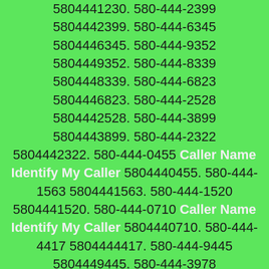5804441230. 580-444-2399 5804442399. 580-444-6345 5804446345. 580-444-9352 5804449352. 580-444-8339 5804448339. 580-44-6823 5804446823. 580-444-2528 5804442528. 580-444-3899 5804443899. 580-444-2322 5804442322. 580-444-0455 Caller Name Identify My Caller 5804440455. 580-444-1563 5804441563. 580-444-1520 5804441520. 580-444-0710 Caller Name Identify My Caller 5804440710. 580-444-4417 5804444417. 580-444-9445 5804449445. 580-444-3978 5804443978. 580-444-0788 Caller Name Identify My Caller 5804440788. 580-444-7297 5804447297. 580-444-1141 5804441141. 580-444-9811 5804449811. 580-444-3063 5804443063. 580-444-3054 5804443054. 580-444-9819 5804449819. 580-444-7750 5804447750. 580-444-9632 5804449632. 580-444-2788 5804442788. 580-444-1287 5804441287. 580-444-2165